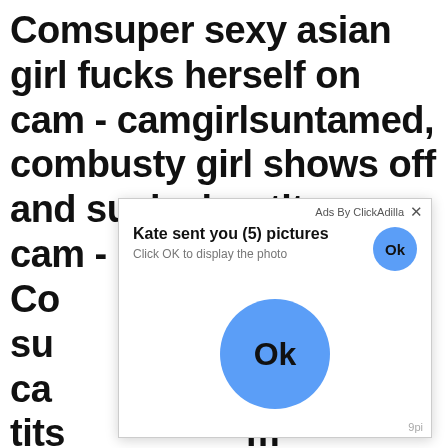Comsuper sexy asian girl fucks herself on cam - camgirlsuntamed, combusty girl shows off and sucks her tit on cam - camgirlsuntamed. Co...d su...ca...tits...m -m...er...communication with them
[Figure (screenshot): Ad overlay popup from ClickAdilla. Shows 'Kate sent you (5) pictures / Click OK to display the photo' with a blue Ok button on the right and a large blue Ok circle button in the center of the popup. Footer shows '9pi'.]